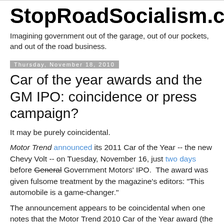StopRoadSocialism.com
Imagining government out of the garage, out of our pockets, and out of the road business.
Thursday, November 18, 2010
Car of the year awards and the GM IPO: coincidence or press campaign?
It may be purely coincidental.
Motor Trend announced its 2011 Car of the Year -- the new Chevy Volt -- on Tuesday, November 16, just two days before General Government Motors' IPO.  The award was given fulsome treatment by the magazine's editors: "This automobile is a game-changer."
The announcement appears to be coincidental when one notes that the Motor Trend 2010 Car of the Year award (the